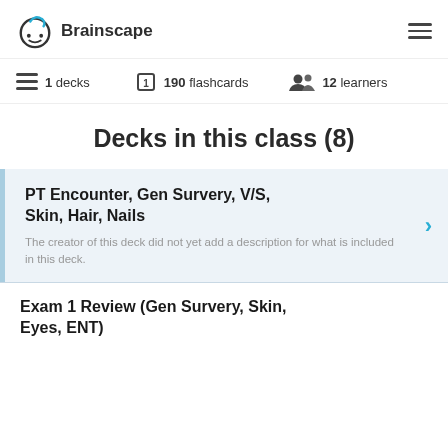[Figure (logo): Brainscape logo with brain icon and wordmark]
1 decks   190 flashcards   12 learners
Decks in this class (8)
PT Encounter, Gen Survery, V/S, Skin, Hair, Nails
The creator of this deck did not yet add a description for what is included in this deck.
Exam 1 Review (Gen Survery, Skin, Eyes, ENT)